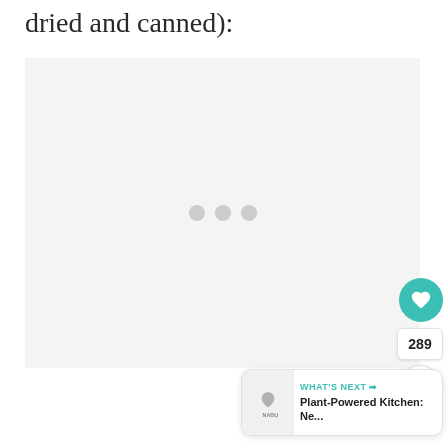dried and canned):
[Figure (other): Large image placeholder area with loading dots (three gray circles), indicating an image that has not yet loaded. Background is light gray.]
289
WHAT'S NEXT → Plant-Powered Kitchen: Ne...